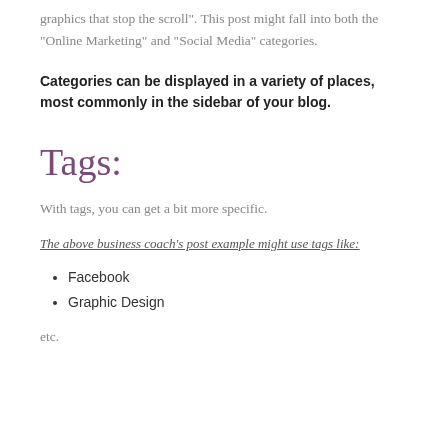graphics that stop the scroll". This post might fall into both the “Online Marketing” and “Social Media” categories.
Categories can be displayed in a variety of places, most commonly in the sidebar of your blog.
Tags:
With tags, you can get a bit more specific.
The above business coach’s post example might use tags like:
Facebook
Graphic Design
etc.